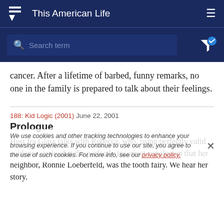This American Life
cancer. After a lifetime of barbed, funny remarks, no one in the family is prepared to talk about their feelings.
188: Kid Logic (2001)  June 22, 2001
Prologue
Host Ira Glass talks with Rebecca, who, using perfectly valid evidence, arrived at the perfectly incorrect conclusion that her neighbor, Ronnie Loeberfeld, was the tooth fairy. We hear her story.
We use cookies and other tracking technologies to enhance your browsing experience. If you continue to use our site, you agree to the use of such cookies. For more info, see our privacy policy.